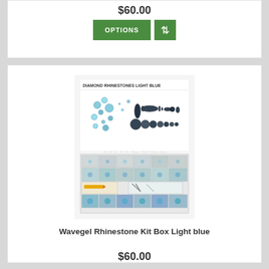$60.00
[Figure (photo): Wavegel Rhinestone Kit Box Light blue product image showing diamond rhinestones in various shapes and sizes in a storage box, labeled DIAMOND RHINESTONES LIGHT BLUE]
Wavegel Rhinestone Kit Box Light blue
$60.00